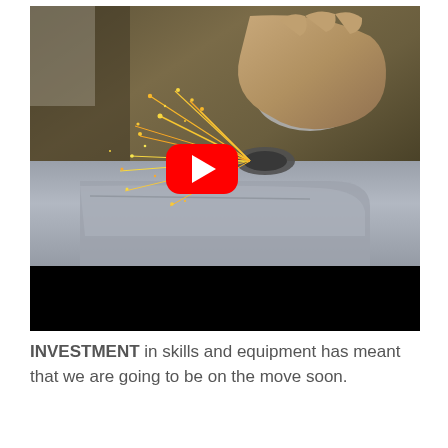[Figure (screenshot): A YouTube video thumbnail showing a person using an angle grinder on a metal panel, with sparks flying. A red YouTube play button is overlaid in the center. The bottom portion of the video shows a black bar.]
INVESTMENT in skills and equipment has meant that we are going to be on the move soon.